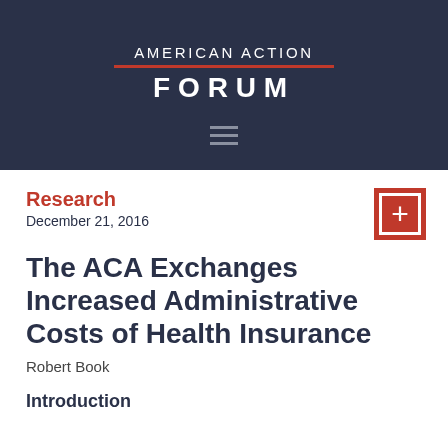[Figure (logo): American Action Forum logo on dark navy background with red underline between AMERICAN ACTION and FORUM text, and a hamburger menu icon below]
Research
December 21, 2016
The ACA Exchanges Increased Administrative Costs of Health Insurance
Robert Book
Introduction